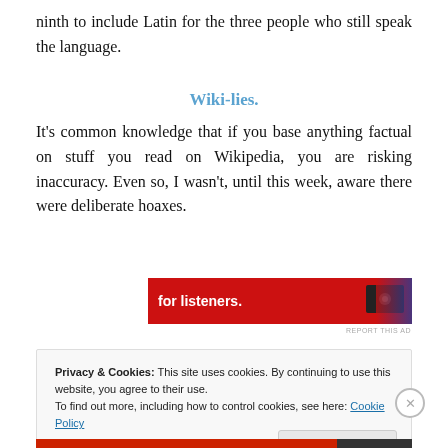ninth to include Latin for the three people who still speak the language.
Wiki-lies.
It’s common knowledge that if you base anything factual on stuff you read on Wikipedia, you are risking inaccuracy. Even so, I wasn’t, until this week, aware there were deliberate hoaxes.
[Figure (screenshot): Red advertisement banner showing text 'for listeners.' with a device image]
REPORT THIS AD
Privacy & Cookies: This site uses cookies. By continuing to use this website, you agree to their use.
To find out more, including how to control cookies, see here: Cookie Policy
Close and accept